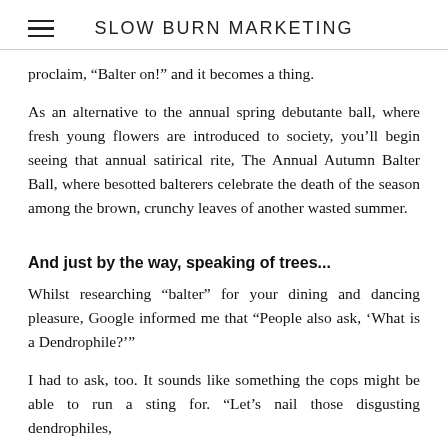SLOW BURN MARKETING
proclaim, “Balter on!” and it becomes a thing.
As an alternative to the annual spring debutante ball, where fresh young flowers are introduced to society, you’ll begin seeing that annual satirical rite, The Annual Autumn Balter Ball, where besotted balterers celebrate the death of the season among the brown, crunchy leaves of another wasted summer.
And just by the way, speaking of trees...
Whilst researching “balter” for your dining and dancing pleasure, Google informed me that “People also ask, ‘What is a Dendrophile?’”
I had to ask, too. It sounds like something the cops might be able to run a sting for. “Let’s nail those disgusting dendrophiles,